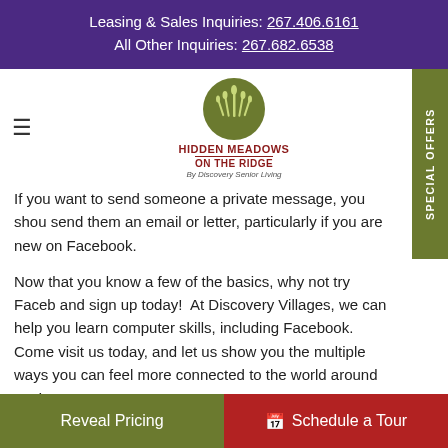Leasing & Sales Inquiries: 267.406.6161
All Other Inquiries: 267.682.6538
[Figure (logo): Hidden Meadows On The Ridge by Discovery Senior Living logo — green circle with wheat/grass design, red text brand name]
If you want to send someone a private message, you should send them an email or letter, particularly if you are new on Facebook.
Now that you know a few of the basics, why not try Facebook and sign up today!  At Discovery Villages, we can help you learn computer skills, including Facebook.  Come visit us today, and let us show you the multiple ways you can feel more connected to the world around you!
Hidden Meadows On The Ridge is a world-class senior living community with locations in Pennsylvania.  We offer a
Reveal Pricing | Schedule a Tour